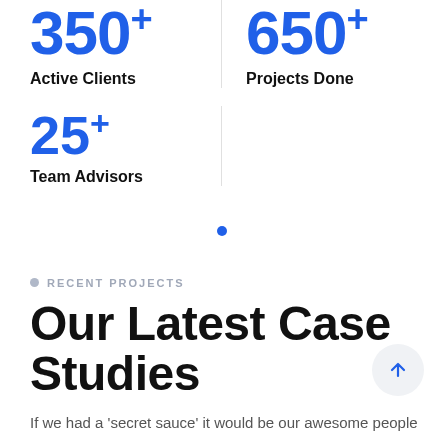350+ Active Clients
650+ Projects Done
25+ Team Advisors
RECENT PROJECTS
Our Latest Case Studies
If we had a 'secret sauce' it would be our awesome people